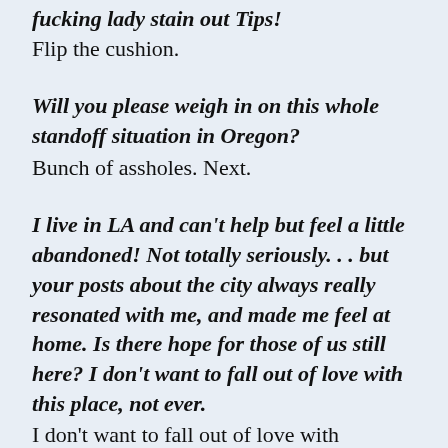fucking lady stain out Tips!
Flip the cushion.
Will you please weigh in on this whole standoff situation in Oregon?
Bunch of assholes. Next.
I live in LA and can't help but feel a little abandoned! Not totally seriously. . . but your posts about the city always really resonated with me, and made me feel at home. Is there hope for those of us still here? I don't want to fall out of love with this place, not ever.
I don't want to fall out of love with